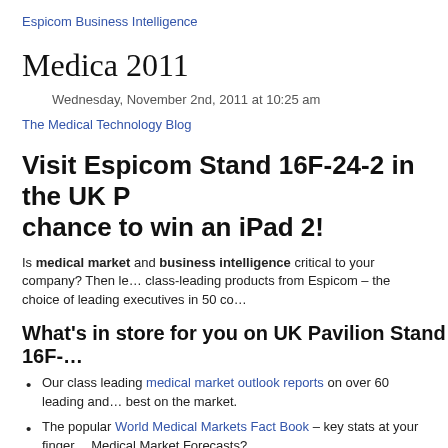Espicom Business Intelligence
Medica 2011
Wednesday, November 2nd, 2011 at 10:25 am
The Medical Technology Blog
Visit Espicom Stand 16F-24-2 in the UK P… chance to win an iPad 2!
Is medical market and business intelligence critical to your company? Then le… class-leading products from Espicom – the choice of leading executives in 50 co…
What's in store for you on UK Pavilion Stand 16F-…
Our class leading medical market outlook reports on over 60 leading and… best on the market.
The popular World Medical Markets Fact Book – key stats at your finger… Medical Market Forecasts?